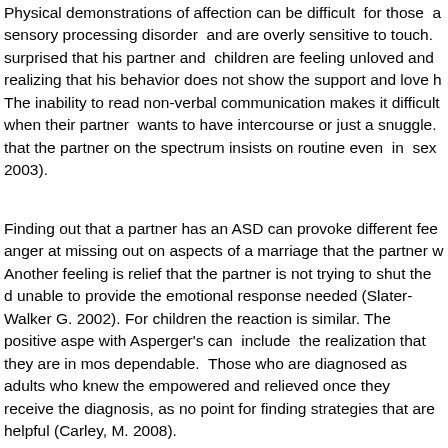Physical demonstrations of affection can be difficult for those a sensory processing disorder and are overly sensitive to touch. surprised that his partner and children are feeling unloved and realizing that his behavior does not show the support and love h The inability to read non-verbal communication makes it difficul when their partner wants to have intercourse or just a snuggle. that the partner on the spectrum insists on routine even in sex 2003).
Finding out that a partner has an ASD can provoke different fee anger at missing out on aspects of a marriage that the partner w Another feeling is relief that the partner is not trying to shut the unable to provide the emotional response needed (Slater-Walker G. 2002). For children the reaction is similar. The positive aspe with Asperger's can include the realization that they are in mos dependable. Those who are diagnosed as adults who knew the empowered and relieved once they receive the diagnosis, as no point for finding strategies that are helpful (Carley, M. 2008).